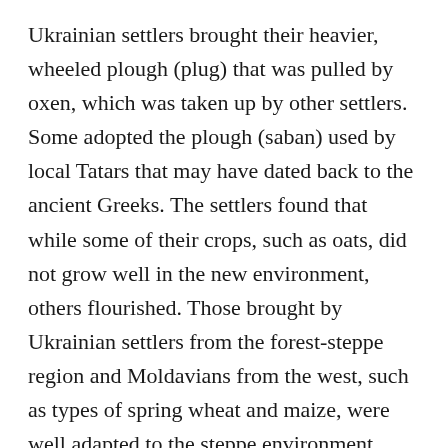Ukrainian settlers brought their heavier, wheeled plough (plug) that was pulled by oxen, which was taken up by other settlers. Some adopted the plough (saban) used by local Tatars that may have dated back to the ancient Greeks. The settlers found that while some of their crops, such as oats, did not grow well in the new environment, others flourished. Those brought by Ukrainian settlers from the forest-steppe region and Moldavians from the west, such as types of spring wheat and maize, were well adapted to the steppe environment. Settlers also adopted varieties of spring wheat that were already grown locally, in particular girka and